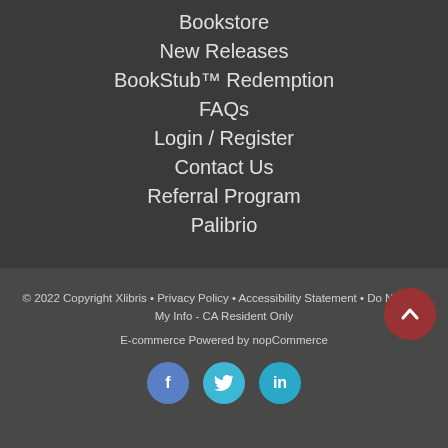Bookstore
New Releases
BookStub™ Redemption
FAQs
Login / Register
Contact Us
Referral Program
Palibrio
© 2022 Copyright Xlibris • Privacy Policy • Accessibility Statement • Do Not Sell My Info - CA Resident Only
E-commerce Powered by nopCommerce